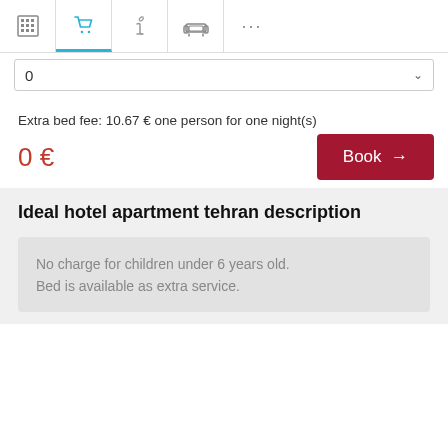Navigation bar with icons: hotel grid, cart (active/blue), info, sofa, more (...)
0  ˅
Extra bed fee: 10.67 € one person for one night(s)
0 €
Book →
Ideal hotel apartment tehran description
No charge for children under 6 years old.
Bed is available as extra service.